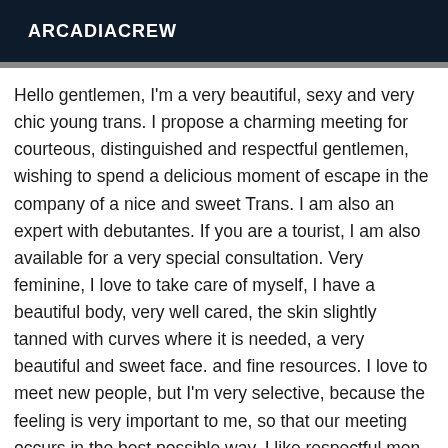ARCADIACREW
Hello gentlemen, I'm a very beautiful, sexy and very chic young trans. I propose a charming meeting for courteous, distinguished and respectful gentlemen, wishing to spend a delicious moment of escape in the company of a nice and sweet Trans. I am also an expert with debutantes. If you are a tourist, I am also available for a very special consultation. Very feminine, I love to take care of myself, I have a beautiful body, very well cared, the skin slightly tanned with curves where it is needed, a very beautiful and sweet face. and fine resources. I love to meet new people, but I'm very selective, because the feeling is very important to me, so that our meeting occurs in the best possible way. I like respectful men and nothing better than to spend one night or a few hours alone with a good wine or champagne in good company. I prefer appointments scheduled at least 30 minutes in advance, because